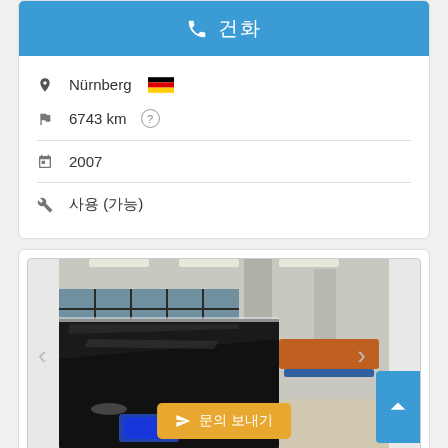전화
Nürnberg 🇩🇪
6743 km
2007
사용 (가능)
[Figure (photo): Photo of a large format printing machine in an industrial warehouse setting, black machine with control panel, large windows in background.]
문의 보내기